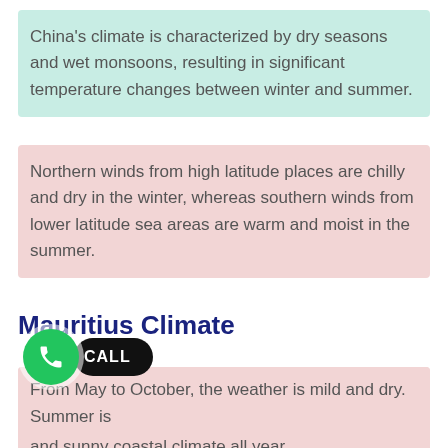China's climate is characterized by dry seasons and wet monsoons, resulting in significant temperature changes between winter and summer.
Northern winds from high latitude places are chilly and dry in the winter, whereas southern winds from lower latitude sea areas are warm and moist in the summer.
Mauritius Climate
Mauritius has a tropical maritime climate with little seasonal variation in temperatures and a pleasant and sunny coastal climate all year.
From May to October, the weather is mild and dry. Summer is